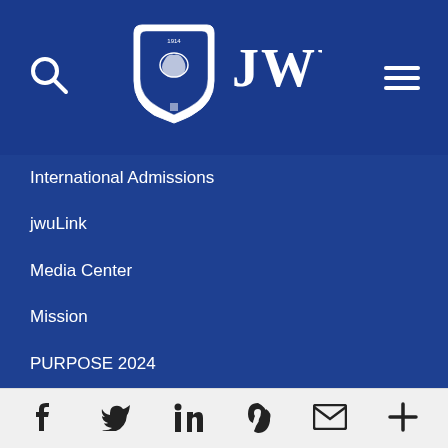[Figure (logo): JWU (Johnson & Wales University) logo with shield and text on blue header background, plus search and hamburger menu icons]
International Admissions
jwuLink
Media Center
Mission
PURPOSE 2024
Social Directory
Terms of Use
Tuition & Aid
Virtual Tours
Facebook, Twitter, LinkedIn, Pinterest, Email, More (social media icons)